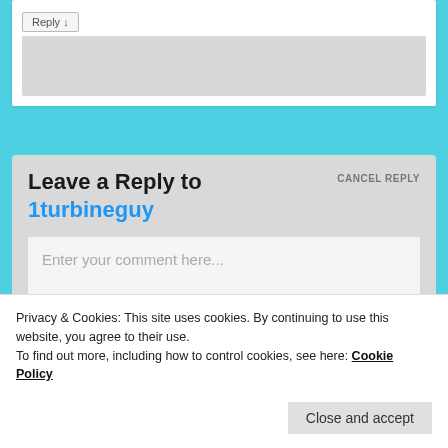[Figure (screenshot): Top comment card with Reply button and grey content block]
Leave a Reply to 1turbineguy
CANCEL REPLY
Enter your comment here...
Privacy & Cookies: This site uses cookies. By continuing to use this website, you agree to their use.
To find out more, including how to control cookies, see here: Cookie Policy
Close and accept